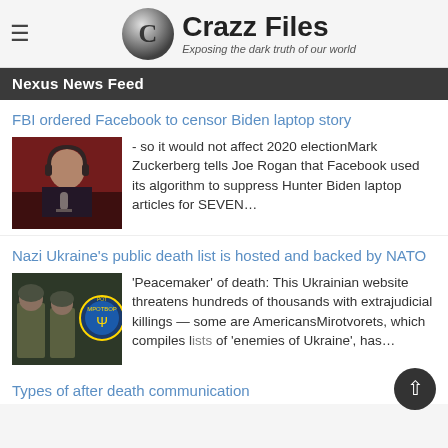Crazz Files — Exposing the dark truth of our world
Nexus News Feed
FBI ordered Facebook to censor Biden laptop story
[Figure (photo): Man in dark shirt wearing headphones, speaking into microphone (Mark Zuckerberg on Joe Rogan podcast)]
- so it would not affect 2020 electionMark Zuckerberg tells Joe Rogan that Facebook used its algorithm to suppress Hunter Biden laptop articles for SEVEN…
Nazi Ukraine's public death list is hosted and backed by NATO
[Figure (photo): Soldiers in military gear with Ukrainian logo visible on patch]
'Peacemaker' of death: This Ukrainian website threatens hundreds of thousands with extrajudicial killings — some are AmericansMirotvorets, which compiles lists of 'enemies of Ukraine', has…
Types of after death communication